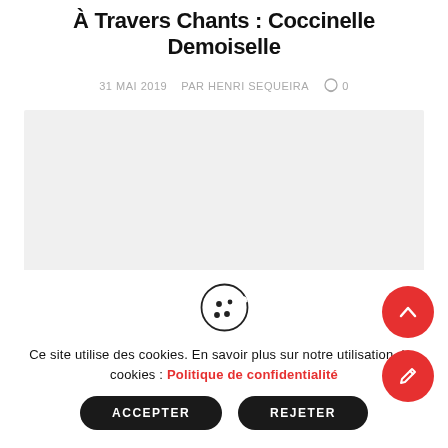À Travers Chants : Coccinelle Demoiselle
31 MAI 2019   PAR HENRI SEQUEIRA   ○ 0
[Figure (photo): Light gray placeholder image area]
[Figure (illustration): Cookie consent icon (cookie with bite taken out)]
Ce site utilise des cookies. En savoir plus sur notre utilisation des cookies : Politique de confidentialité
ACCEPTER   REJETER